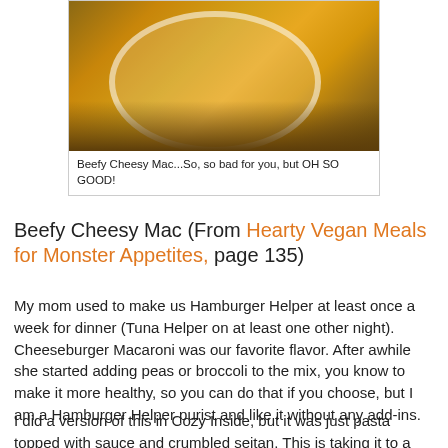[Figure (photo): Close-up photo of a bowl of Beefy Cheesy Mac, showing orange-yellow macaroni and cheese on a wooden surface]
Beefy Cheesy Mac...So, so bad for you, but OH SO GOOD!
Beefy Cheesy Mac (From Hearty Vegan Meals for Monster Appetites, page 135)
My mom used to make us Hamburger Helper at least once a week for dinner (Tuna Helper on at least one other night). Cheeseburger Macaroni was our favorite flavor. After awhile she started adding peas or broccoli to the mix, you know to make it more healthy, so you can do that if you choose, but I am a Hamburger Helper purist and like it without any add-ins.
I did a version of this in Cozy Inside, but it was just pasta topped with sauce and crumbled seitan. This is taking it to a whole new greasy yellow pasta kind of level. Using a big